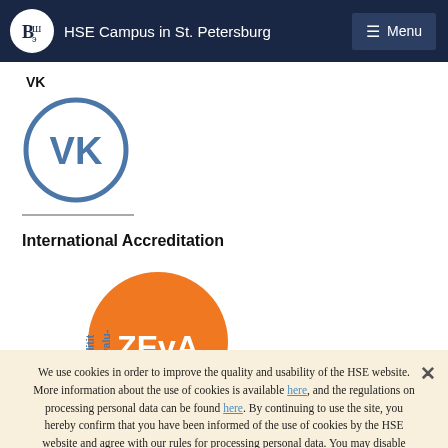HSE Campus in St. Petersburg | Menu
VK
[Figure (logo): VK social network logo — circular icon with VK letters inside a circle outline]
International Accreditation
[Figure (logo): ZEvA accreditation logo — orange circle with ZEvA text, with 'Zentrale Evalu- und Akkreditit' curved text on the left side]
We use cookies in order to improve the quality and usability of the HSE website. More information about the use of cookies is available here, and the regulations on processing personal data can be found here. By continuing to use the site, you hereby confirm that you have been informed of the use of cookies by the HSE website and agree with our rules for processing personal data. You may disable cookies in your browser settings.